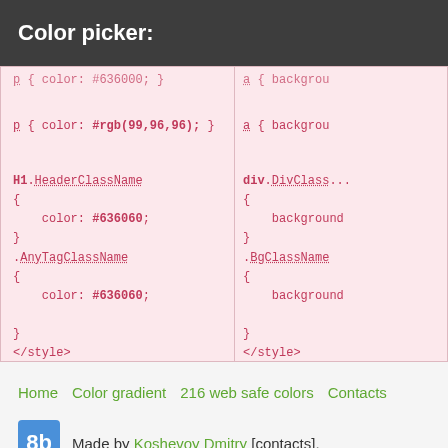Color picker:
[Figure (screenshot): Two-column code panel showing CSS code snippets with color picker output. Left panel shows: p { color: #636000; } and p { color: rgb(99,96,96); } and H1.HeaderClassName { color: #636060; } .AnyTagClassName { color: #636060; } </style>. Right panel shows partial: a { background... a { background... div.DivClass... { background... } .BgClassName { background... } </style>]
Home
Color gradient
216 web safe colors
Contacts
Made by Koshevoy Dmitry [contacts],